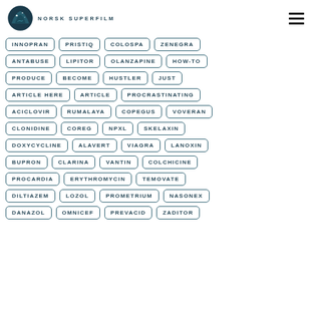[Figure (logo): Norsk Superfilm logo: teal bear/mountain icon with text NORSK SUPERFILM]
INNOPRAN
PRISTIQ
COLOSPA
ZENEGRA
ANTABUSE
LIPITOR
OLANZAPINE
HOW-TO
PRODUCE
BECOME
HUSTLER
JUST
ARTICLE HERE
ARTICLE
PROCRASTINATING
ACICLOVIR
RUMALAYA
COPEGUS
VOVERAN
CLONIDINE
COREG
NPXL
SKELAXIN
DOXYCYCLINE
ALAVERT
VIAGRA
LANOXIN
BUPRON
CLARINA
VANTIN
COLCHICINE
PROCARDIA
ERYTHROMYCIN
TEMOVATE
DILTIAZEM
LOZOL
PROMETRIUM
NASONEX
DANAZOL
OMNICEF
PREVACID
ZADITOR